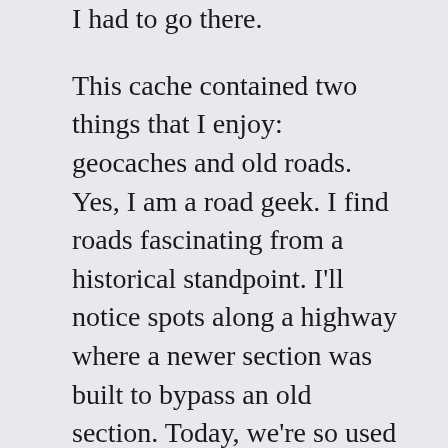I had to go there.
This cache contained two things that I enjoy: geocaches and old roads. Yes, I am a road geek. I find roads fascinating from a historical standpoint. I'll notice spots along a highway where a newer section was built to bypass an old section. Today, we're so used to our eight-lane, wide-open expanses of blacktop, I like to see how things were when times were slower and people took time to enjoy the view on their trips.
But how did this bridge come to be left to die in the shadow of its newer sibling? The story of this bridge starts with the creation of the first